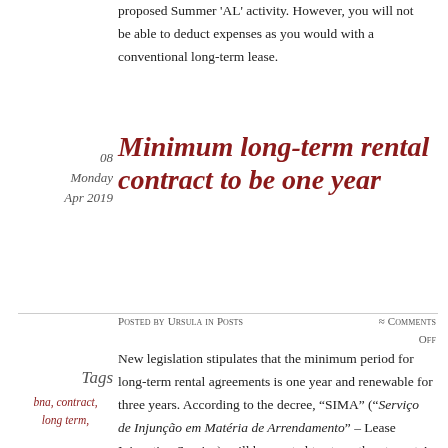proposed Summer 'AL' activity. However, you will not be able to deduct expenses as you would with a conventional long-term lease.
08
Monday
Apr 2019
Minimum long-term rental contract to be one year
Posted by Ursula in Posts
≈ Comments Off
Tags
bna, contract, long term,
New legislation stipulates that the minimum period for long-term rental agreements is one year and renewable for three years. According to the decree, “SIMA” (“Serviço de Injunção em Matéria de Arrendamento” – Lease Injunction Service)  will be created to strengthen tenants’ rights, namely for the